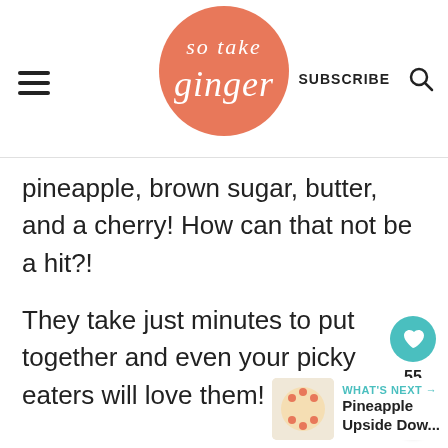so take ginger | SUBSCRIBE
pineapple, brown sugar, butter, and a cherry! How can that not be a hit?!
They take just minutes to put together and even your picky eaters will love them!
55
WHAT'S NEXT → Pineapple Upside Dow...